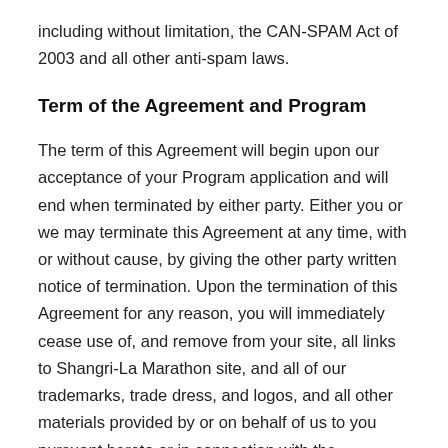including without limitation, the CAN-SPAM Act of 2003 and all other anti-spam laws.
Term of the Agreement and Program
The term of this Agreement will begin upon our acceptance of your Program application and will end when terminated by either party. Either you or we may terminate this Agreement at any time, with or without cause, by giving the other party written notice of termination. Upon the termination of this Agreement for any reason, you will immediately cease use of, and remove from your site, all links to Shangri-La Marathon site, and all of our trademarks, trade dress, and logos, and all other materials provided by or on behalf of us to you pursuant hereto or in connection with the